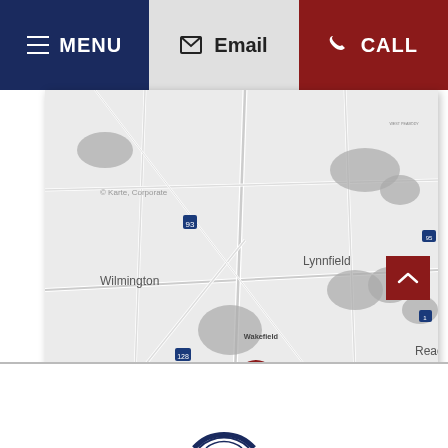MENU   Email   CALL
[Figure (map): Google Maps style grayscale map centered on Wakefield, Massachusetts with a red location pin marker. Surrounding towns visible include Wilmington, Reading, Lynnfield, West Peabody, Woburn, Stoneham, Melrose (Wyoming), Saugus, West Lynn, Winchester, and Breakheart Reservation.]
[Figure (logo): Partial circular logo/emblem visible at bottom center of page]